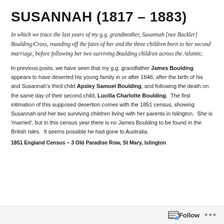SUSANNAH (1817 – 1883)
In which we trace the last years of my g.g. grandmother, Susannah [nee Backler] Boulding/Cross, rounding off the fates of her and the three children born to her second marriage, before following her two surviving Boulding children across the Atlantic.
In previous posts, we have seen that my g.g. grandfather James Boulding appears to have deserted his young family in or after 1848, after the birth of his and Susannah's third child Apsley Samuel Boulding, and following the death on the same day of their second child, Lucilla Charlotte Boulding. The first intimation of this supposed desertion comes with the 1851 census, showing Susannah and her two surviving children living with her parents in Islington. She is 'married', but in this census year there is no James Boulding to be found in the British Isles. It seems possible he had gone to Australia.
1851 England Census – 3 Old Paradise Row, St Mary, Islington